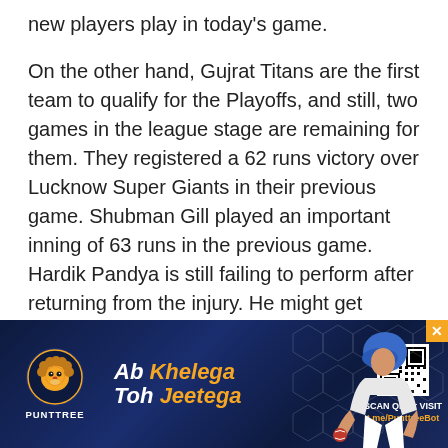new players play in today's game.
On the other hand, Gujrat Titans are the first team to qualify for the Playoffs, and still, two games in the league stage are remaining for them. They registered a 62 runs victory over Lucknow Super Giants in their previous game. Shubman Gill played an important inning of 63 runs in the previous game. Hardik Pandya is still failing to perform after returning from the injury. He might get rested in today's game and new players might get a chance as they are already qualified. Let's take a look at the CSK vs GT Dream11 Match Prediction and Dream11 team
[Figure (infographic): Punttree advertisement banner with dark blue gradient background, lion logo, 'Ab Khelega Toh Jeetega' slogan in white and orange italic text, QR code, 'SCAN QR or VISIT t.me/PunttreeBot' text, and cricket player image on the right with an orange X close button.]